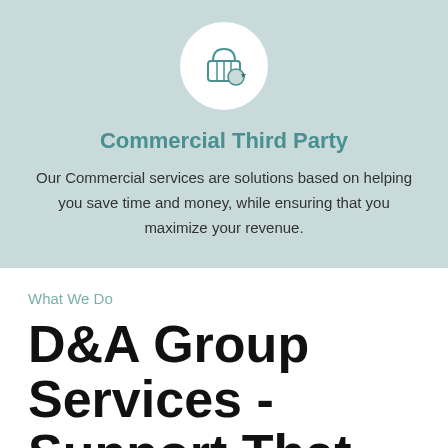[Figure (illustration): Shopping basket icon with a star badge, inside a white circle, on a teal/light green background]
Commercial Third Party
Our Commercial services are solutions based on helping you save time and money, while ensuring that you maximize your revenue.
What We Do
D&A Group Services - Support That